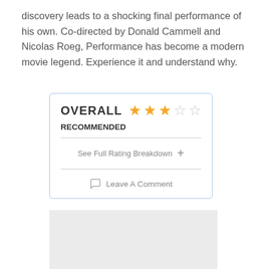discovery leads to a shocking final performance of his own. Co-directed by Donald Cammell and Nicolas Roeg, Performance has become a modern movie legend. Experience it and understand why.
[Figure (infographic): Rating box with OVERALL label, 3 filled stars and 2 empty stars, RECOMMENDED text, See Full Rating Breakdown link with plus icon, divider lines, and Leave A Comment link with speech bubble icon]
[Figure (other): Gray placeholder rectangle at bottom of page]